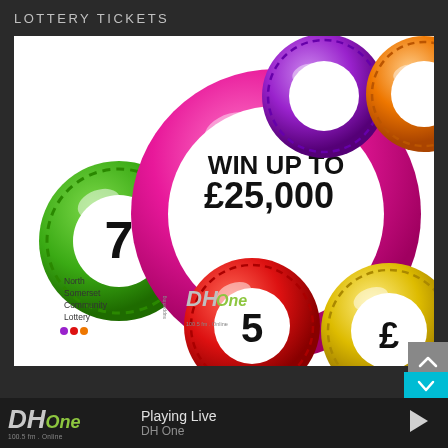LOTTERY TICKETS
[Figure (illustration): Lottery promotional image showing colorful lottery balls (green #7, red #5, yellow #3, purple, orange) on white background with a large pink/magenta ball in center displaying 'WIN UP TO £25,000' in bold black text. Bottom left shows North Somerset Community Lottery logo and DH One radio station logo.]
Playing Live
DH One